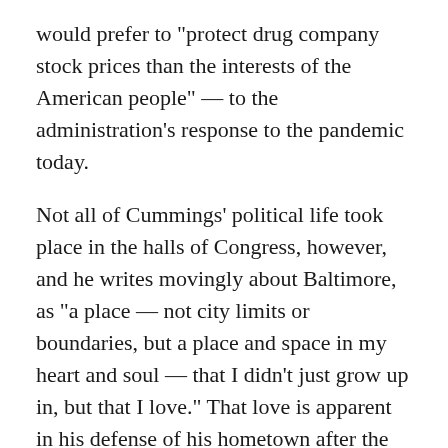would prefer to "protect drug company stock prices than the interests of the American people" — to the administration's response to the pandemic today.
Not all of Cummings' political life took place in the halls of Congress, however, and he writes movingly about Baltimore, as "a place — not city limits or boundaries, but a place and space in my heart and soul — that I didn't just grow up in, but that I love." That love is apparent in his defense of his hometown after the president unleashed an attack by tweet on the city. It is evident in his heartache after the death of Freddie Gray, in the way he talks about and engages with everyday people in the community.
Such warmth is unsurprising in a book replete with examples of the Congressman's remarkable empathy. Whether helping